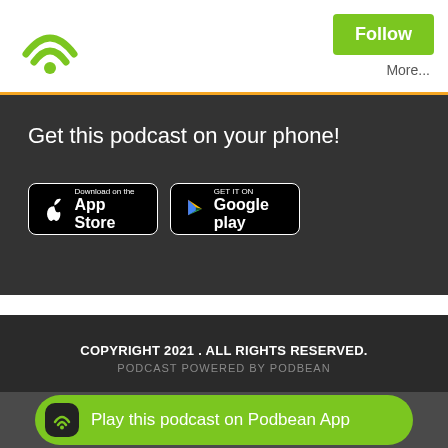[Figure (logo): Podbean wifi/podcast logo in green]
Follow
More...
Get this podcast on your phone!
[Figure (other): Download on the App Store button]
[Figure (other): Get it on Google Play button]
COPYRIGHT 2021 . ALL RIGHTS RESERVED.
PODCAST POWERED BY PODBEAN
Play this podcast on Podbean App